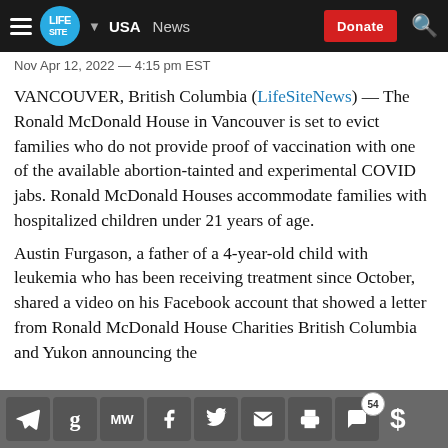LIFESITE — USA  News  Donate
Nov Apr 12, 2022 — 4:15 pm EST
VANCOUVER, British Columbia (LifeSiteNews) — The Ronald McDonald House in Vancouver is set to evict families who do not provide proof of vaccination with one of the available abortion-tainted and experimental COVID jabs. Ronald McDonald Houses accommodate families with hospitalized children under 21 years of age.
Austin Furgason, a father of a 4-year-old child with leukemia who has been receiving treatment since October, shared a video on his Facebook account that showed a letter from Ronald McDonald House Charities British Columbia and Yukon announcing the